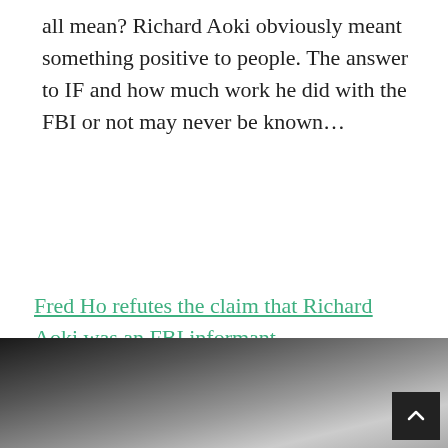all mean? Richard Aoki obviously meant something positive to people. The answer to IF and how much work he did with the FBI or not may never be known…
Fred Ho refutes the claim that Richard Aoki was an FBI informant
This entry was posted in Blog and tagged aoki, black, blue, brown, defense, freedom, geo, huey, movement, newton, panther, party, police, politics, prometheus, rebel, richard, scholars. Bookmark the permalink.
[Figure (photo): Dark grayscale photo at the bottom of the page, partially visible, with a back-to-top button in the lower right corner.]